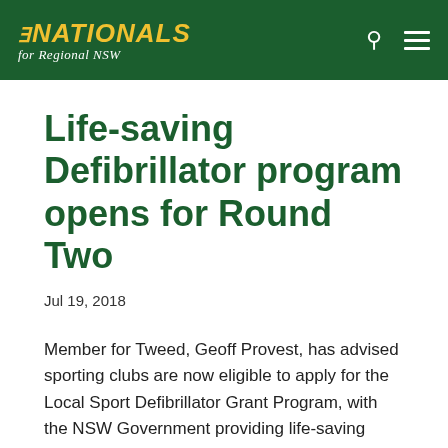THE NATIONALS for Regional NSW
Life-saving Defibrillator program opens for Round Two
Jul 19, 2018
Member for Tweed, Geoff Provest, has advised sporting clubs are now eligible to apply for the Local Sport Defibrillator Grant Program, with the NSW Government providing life-saving technology for people experiencing cardiac